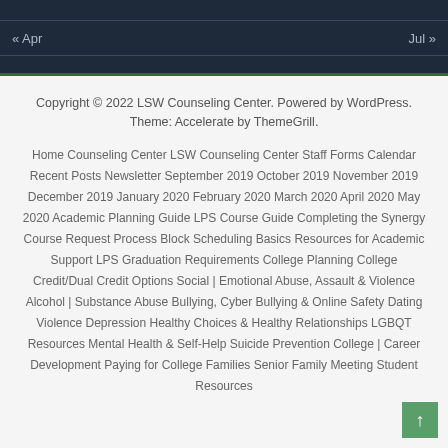« Apr    Jul »
Copyright © 2022 LSW Counseling Center. Powered by WordPress. Theme: Accelerate by ThemeGrill.
Home  Counseling Center  LSW Counseling Center Staff  Forms  Calendar  Recent Posts  Newsletter  September 2019  October 2019  November 2019  December 2019  January 2020  February 2020  March 2020  April 2020  May 2020  Academic Planning Guide  LPS Course Guide  Completing the Synergy Course Request Process  Block Scheduling Basics  Resources for Academic Support  LPS Graduation Requirements  College Planning  College Credit/Dual Credit Options  Social | Emotional  Abuse, Assault & Violence  Alcohol | Substance Abuse  Bullying, Cyber Bullying & Online Safety  Dating Violence  Depression  Healthy Choices & Healthy Relationships  LGBQT Resources  Mental Health & Self-Help  Suicide Prevention  College | Career Development  Paying for College  Families  Senior Family Meeting  Student Resources